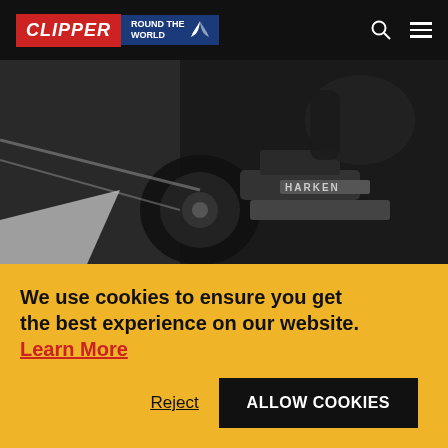Clipper Round the World
[Figure (photo): Close-up photo of a sailor's hand operating a Harken winch on a racing sailboat during rough weather]
27 FEB 2020
RACE 7 DAY 4: BACK IN ACTION
We use cookies to ensure you get the best experience on our website. Learn More
Reject   ALLOW COOKIES